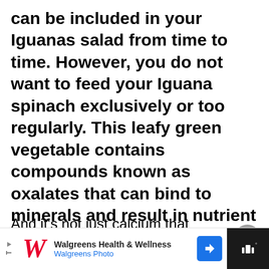can be included in your Iguanas salad from time to time. However, you do not want to feed your Iguana spinach exclusively or too regularly. This leafy green vegetable contains compounds known as oxalates that can bind to minerals and result in nutrient deficiencies.
And it's not just calcium that oxalates can bind to.
[Figure (logo): Walgreens Health & Wellness advertisement banner with Walgreens W logo, text 'Walgreens Health & Wellness' and 'Walgreens Photo', a blue direction arrow icon, and a dark right panel with broadcast/signal icon]